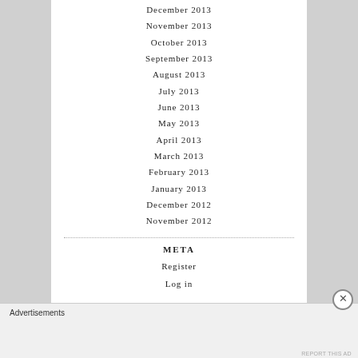December 2013
November 2013
October 2013
September 2013
August 2013
July 2013
June 2013
May 2013
April 2013
March 2013
February 2013
January 2013
December 2012
November 2012
META
Register
Log in
Advertisements